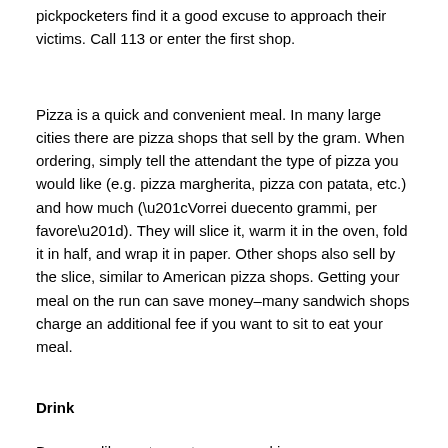pickpocketers find it a good excuse to approach their victims. Call 113 or enter the first shop.
Pizza is a quick and convenient meal. In many large cities there are pizza shops that sell by the gram. When ordering, simply tell the attendant the type of pizza you would like (e.g. pizza margherita, pizza con patata, etc.) and how much (“Vorrei duecento grammi, per favore”). They will slice it, warm it in the oven, fold it in half, and wrap it in paper. Other shops also sell by the slice, similar to American pizza shops. Getting your meal on the run can save money–many sandwich shops charge an additional fee if you want to sit to eat your meal.
Drink
Bars are, like restaurants, non-smoking.